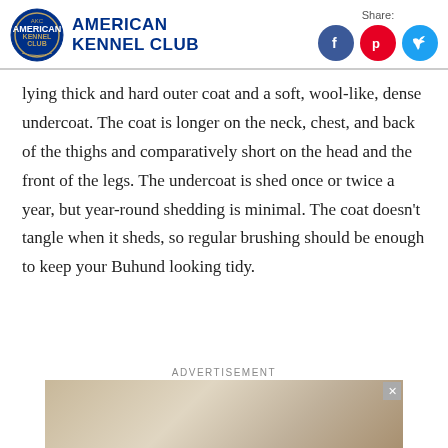American Kennel Club — Share: [Facebook] [Pinterest] [Twitter]
lying thick and hard outer coat and a soft, wool-like, dense undercoat. The coat is longer on the neck, chest, and back of the thighs and comparatively short on the head and the front of the legs. The undercoat is shed once or twice a year, but year-round shedding is minimal. The coat doesn't tangle when it sheds, so regular brushing should be enough to keep your Buhund looking tidy.
ADVERTISEMENT
[Figure (photo): Advertisement image showing hands on a light surface, with a close button in the top-right corner.]